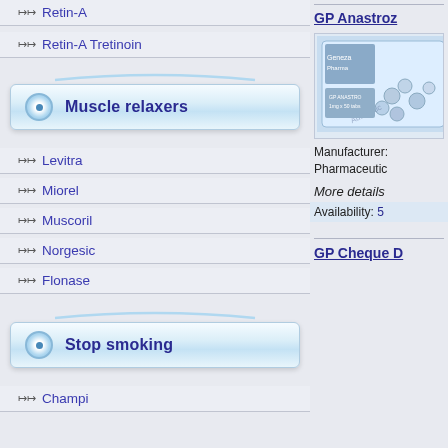Retin-A
Retin-A Tretinoin
Muscle relaxers
Levitra
Miorel
Muscoril
Norgesic
Flonase
Stop smoking
Champix
GP Anastroz
[Figure (photo): Product packaging photo of GP Anastroz pills]
Manufacturer: Pharmaceutic
More details
Availability: 5
GP Cheque D